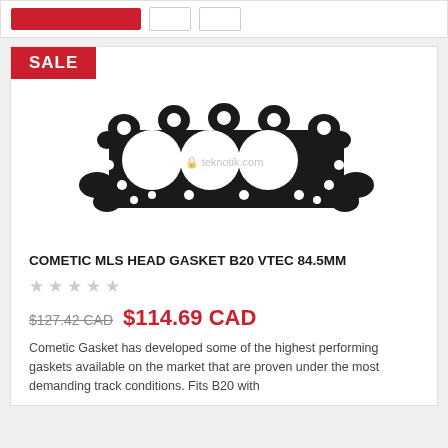[Figure (screenshot): Top bar with red button and two small white boxes]
[Figure (photo): Cometic MLS head gasket B20 VTEC 84.5MM product image showing a black multi-layer steel head gasket with four circular bore openings, with teknotik.com watermark]
COMETIC MLS HEAD GASKET B20 VTEC 84.5MM
★ ★ ★ ★ ★ (empty stars rating)
$127.42 CAD  $114.69 CAD
Cometic Gasket has developed some of the highest performing gaskets available on the market that are proven under the most demanding track conditions. Fits B20 with